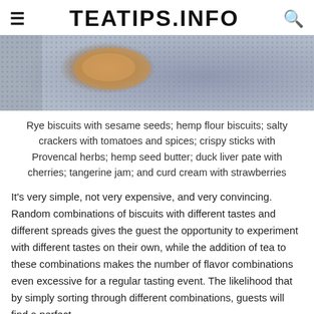TEATIPS.INFO
[Figure (photo): Close-up photo of a wooden object (possibly a biscuit or butter pat) on a textured grey/blue woven surface]
Rye biscuits with sesame seeds; hemp flour biscuits; salty crackers with tomatoes and spices; crispy sticks with Provencal herbs; hemp seed butter; duck liver pate with cherries; tangerine jam; and curd cream with strawberries
It's very simple, not very expensive, and very convincing. Random combinations of biscuits with different tastes and different spreads gives the guest the opportunity to experiment with different tastes on their own, while the addition of tea to these combinations makes the number of flavor combinations even excessive for a regular tasting event. The likelihood that by simply sorting through different combinations, guests will find a perfect